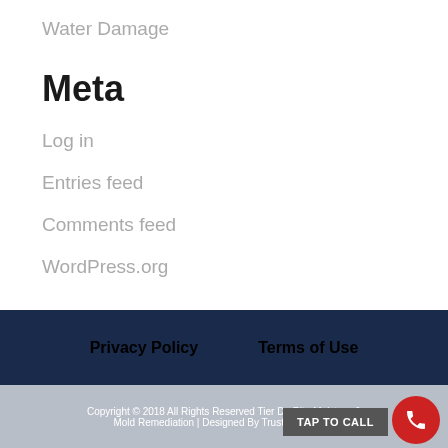Water Damage
Meta
Log in
Entries feed
Comments feed
WordPress.org
Privacy Policy   Terms of Use
Copyright © 2018 All Rights Reserved Tier DryRite Moisture & Mold Remediation | Designed By Trust Local SEO